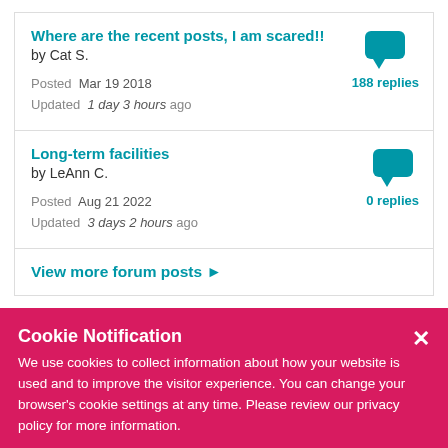Where are the recent posts, I am scared!!
by Cat S.
Posted Mar 19 2018
Updated 1 day 3 hours ago
188 replies
Long-term facilities
by LeAnn C.
Posted Aug 21 2022
Updated 3 days 2 hours ago
0 replies
View more forum posts ▶
Cookie Notification
We use cookies to collect information about how your website is used and to improve the visitor experience. You can change your browser's cookie settings at any time. Please review our privacy policy for more information.